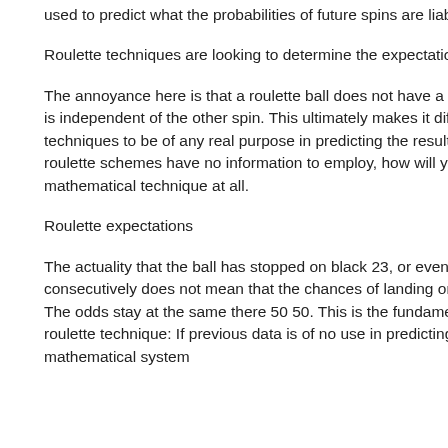used to predict what the probabilities of future spins are liable to result in.
Roulette techniques are looking to determine the expectation of winnings.
The annoyance here is that a roulette ball does not have a memory and any spin is independent of the other spin. This ultimately makes it difficult for roulette techniques to be of any real purpose in predicting the results of future spins. If roulette schemes have no information to employ, how will you have a mathematical technique at all.
Roulette expectations
The actuality that the ball has stopped on black 23, or even 103 times consecutively does not mean that the chances of landing on red have increased. The odds stay at the same there 50 50. This is the fundamental flaw with any roulette technique: If previous data is of no use in predicting what will come a mathematical system